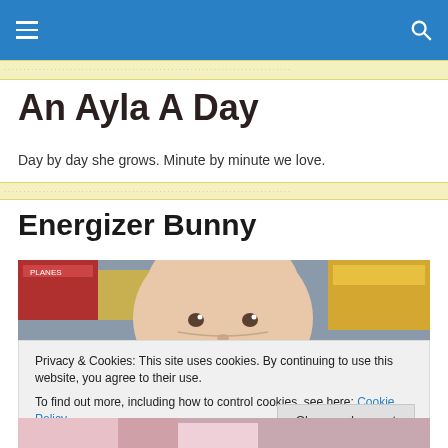Navigation bar with hamburger menu and search icon
An Ayla A Day
Day by day she grows. Minute by minute we love.
Energizer Bunny
[Figure (photo): Close-up photo of a young toddler peeking over a shelf or counter, with colorful boxes in the background including one labeled PLANES]
Privacy & Cookies: This site uses cookies. By continuing to use this website, you agree to their use.
To find out more, including how to control cookies, see here: Cookie Policy
[Figure (photo): Partial view of bottom of page showing what appears to be a child in pink clothing]